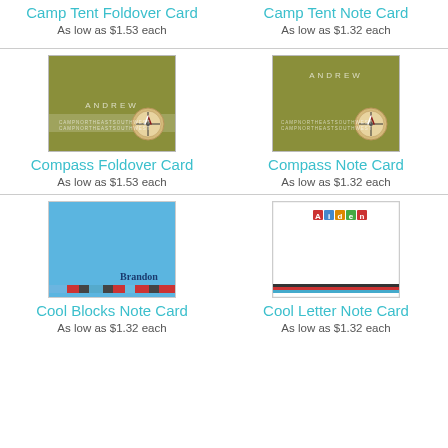Camp Tent Foldover Card
As low as $1.53 each
Camp Tent Note Card
As low as $1.32 each
[Figure (photo): Compass Foldover Card product image - olive green card with compass graphic and name ANDREW]
Compass Foldover Card
As low as $1.53 each
[Figure (photo): Compass Note Card product image - olive green card with ANDREW text and compass graphic]
Compass Note Card
As low as $1.32 each
[Figure (photo): Cool Blocks Note Card - light blue card with Brandon name and colorful block stripe at bottom]
Cool Blocks Note Card
As low as $1.32 each
[Figure (photo): Cool Letter Note Card - white card with Aiden in colored letter blocks and thin stripe at bottom]
Cool Letter Note Card
As low as $1.32 each